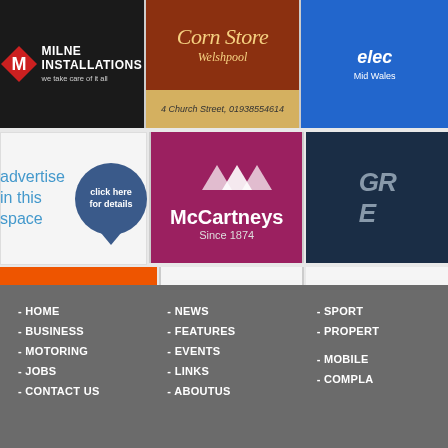[Figure (logo): Milne Installations logo - white text on black background with red diamond M]
[Figure (logo): Corn Store Welshpool - dark red/brown header with gold italic text, address below: 4 Church Street, 01938554614]
[Figure (logo): elec / Mid Wales - blue background with white text (partially cropped)]
[Figure (infographic): Advertise in this space - click here for details bubble on white background]
[Figure (logo): McCartneys Since 1874 - logo on purple/magenta background with white swoosh marks]
[Figure (logo): GR E - partial logo on dark navy background (cropped)]
[Figure (logo): Brooks Cycles - Welshpool: 01938 553582, Newtown: 01686 610021, www.brookscycles.co.uk on orange background]
[Figure (infographic): Advertise in this space - click here for details bubble on white background]
[Figure (infographic): Advertise in this space (partially cropped) on white background]
- HOME
- BUSINESS
- MOTORING
- JOBS
- CONTACT US
- NEWS
- FEATURES
- EVENTS
- LINKS
- ABOUTUS
- SPORT
- PROPERTY
- MOBILE
- COMPLA